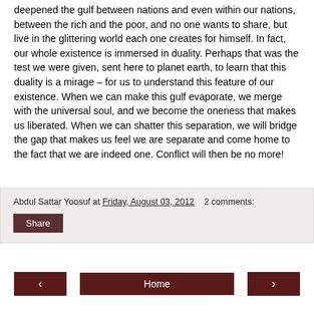deepened the gulf between nations and even within our nations, between the rich and the poor, and no one wants to share, but live in the glittering world each one creates for himself. In fact, our whole existence is immersed in duality. Perhaps that was the test we were given, sent here to planet earth, to learn that this duality is a mirage – for us to understand this feature of our existence. When we can make this gulf evaporate, we merge with the universal soul, and we become the oneness that makes us liberated. When we can shatter this separation, we will bridge the gap that makes us feel we are separate and come home to the fact that we are indeed one. Conflict will then be no more!
Abdul Sattar Yoosuf at Friday, August 03, 2012   2 comments:
Share
‹  Home  ›